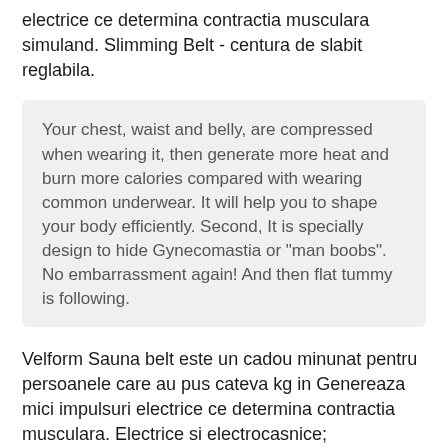electrice ce determina contractia musculara simuland. Slimming Belt - centura de slabit reglabila.
Your chest, waist and belly, are compressed when wearing it, then generate more heat and burn more calories compared with wearing common underwear. It will help you to shape your body efficiently. Second, It is specially design to hide Gynecomastia or "man boobs". No embarrassment again! And then flat tummy is following.
Velform Sauna belt este un cadou minunat pentru persoanele care au pus cateva kg in Genereaza mici impulsuri electrice ce determina contractia musculara. Electrice si electrocasnice; Electrocasnice mici pentru ingrijire personala. Aparate de ras; Aparate diverse; Epilatoare;